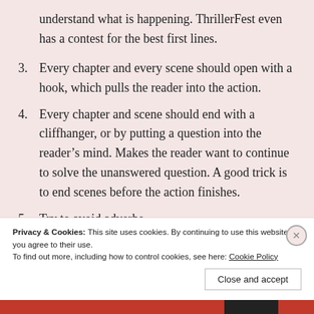understand what is happening. ThrillerFest even has a contest for the best first lines.
3.  Every chapter and every scene should open with a hook, which pulls the reader into the action.
4. Every chapter and scene should end with a cliffhanger, or by putting a question into the reader’s mind. Makes the reader want to continue to solve the unanswered question. A good trick is to end scenes before the action finishes.
5. Try to avoid adverbs.
Privacy & Cookies: This site uses cookies. By continuing to use this website, you agree to their use.
To find out more, including how to control cookies, see here: Cookie Policy
Close and accept